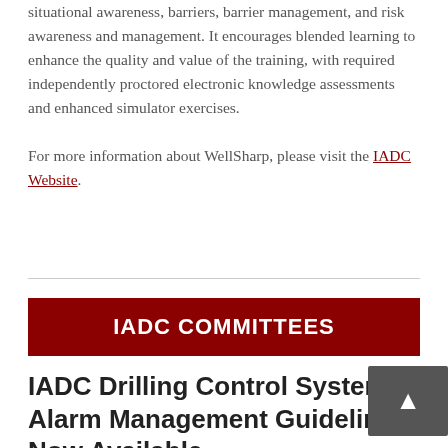situational awareness, barriers, barrier management, and risk awareness and management. It encourages blended learning to enhance the quality and value of the training, with required independently proctored electronic knowledge assessments and enhanced simulator exercises.

For more information about WellSharp, please visit the IADC Website.
IADC COMMITTEES
IADC Drilling Control System Alarm Management Guidelines Now Available